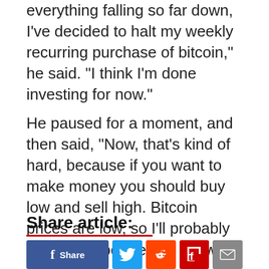everything falling so far down, I've decided to halt my weekly recurring purchase of bitcoin," he said. "I think I'm done investing for now."
He paused for a moment, and then said, "Now, that's kind of hard, because if you want to make money you should buy low and sell high. Bitcoin prices are low, so I'll probably be back in before you know it."
Share article:
[Figure (other): Social media share buttons: Facebook Share, Twitter, Reddit, Flipboard, Email]